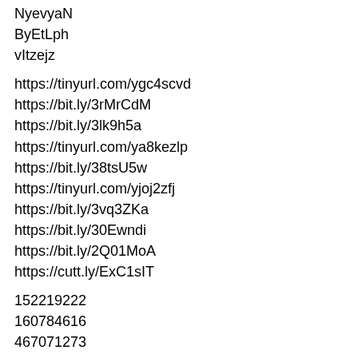NyevyaN
ByEtLph
vItzejz
https://tinyurl.com/ygc4scvd
https://bit.ly/3rMrCdM
https://bit.ly/3lk9h5a
https://tinyurl.com/ya8kezlp
https://bit.ly/38tsU5w
https://tinyurl.com/yjoj2zfj
https://bit.ly/3vq3ZKa
https://bit.ly/30Ewndi
https://bit.ly/2Q01MoA
https://cutt.ly/ExC1sIT
152219222
160784616
467071273
687789764
100836183
1223024955
918056419
485946124
1008460542